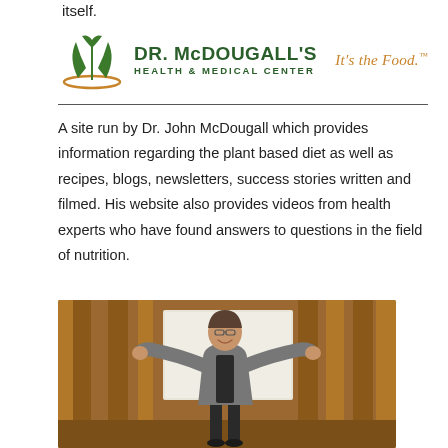itself.
[Figure (logo): Dr. McDougall's Health & Medical Center logo with green plant icon and tagline 'It's the Food.']
A site run by Dr. John McDougall which provides information regarding the plant based diet as well as recipes, blogs, newsletters, success stories written and filmed. His website also provides videos from health experts who have found answers to questions in the field of nutrition.
[Figure (photo): A man in a grey blazer with arms outstretched wide, smiling, standing in front of brown curtains and a whiteboard.]